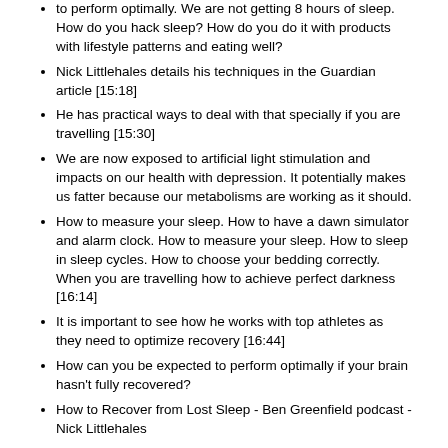to perform optimally. We are not getting 8 hours of sleep. How do you hack sleep? How do you do it with products with lifestyle patterns and eating well?
Nick Littlehales details his techniques in the Guardian article [15:18]
He has practical ways to deal with that specially if you are travelling [15:30]
We are now exposed to artificial light stimulation and impacts on our health with depression. It potentially makes us fatter because our metabolisms are working as it should.
How to measure your sleep. How to have a dawn simulator and alarm clock. How to measure your sleep. How to sleep in sleep cycles. How to choose your bedding correctly. When you are travelling how to achieve perfect darkness [16:14]
It is important to see how he works with top athletes as they need to optimize recovery [16:44]
How can you be expected to perform optimally if your brain hasn't fully recovered?
How to Recover from Lost Sleep - Ben Greenfield podcast - Nick Littlehales
Singularity University – Continuing Education
Executive program by Singularity University which concentrates on six exponentially growing fields each taught by world experts